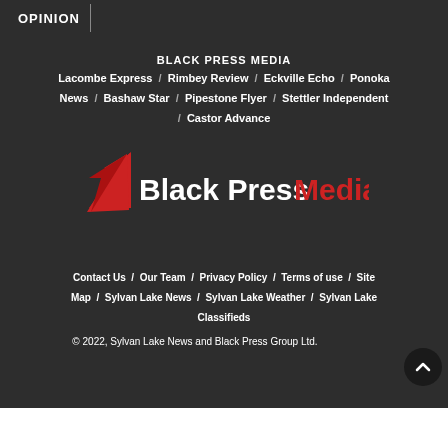OPINION
BLACK PRESS MEDIA
Lacombe Express / Rimbey Review / Eckville Echo / Ponoka News / Bashaw Star / Pipestone Flyer / Stettler Independent / Castor Advance
[Figure (logo): Black Press Media logo with red arrow/wing icon, 'Black Press' in white text and 'Media' in red text]
Contact Us / Our Team / Privacy Policy / Terms of use / Site Map / Sylvan Lake News / Sylvan Lake Weather / Sylvan Lake Classifieds
© 2022, Sylvan Lake News and Black Press Group Ltd.